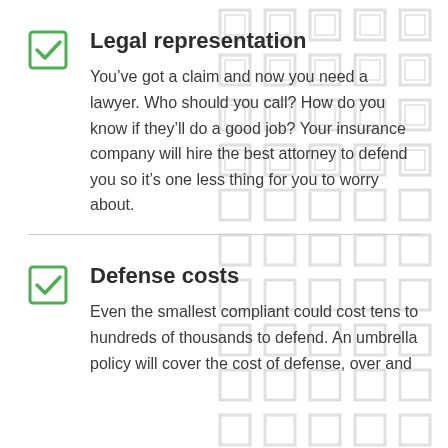Legal representation
You've got a claim and now you need a lawyer. Who should you call? How do you know if they'll do a good job? Your insurance company will hire the best attorney to defend you so it's one less thing for you to worry about.
Defense costs
Even the smallest compliant could cost tens to hundreds of thousands to defend. An umbrella policy will cover the cost of defense, over and